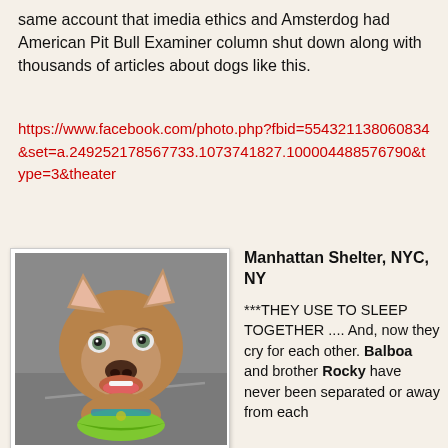same account that imedia ethics and Amsterdog had American Pit Bull Examiner column shut down along with thousands of articles about dogs like this.
https://www.facebook.com/photo.php?fbid=554321138060834&set=a.249252178567733.1073741827.100004488576790&type=3&theater
[Figure (photo): Photo of a brown/tan pit bull dog wearing a green bandana, looking up at the camera with wide eyes and an open mouth smile]
Manhattan Shelter, NYC, NY

***THEY USE TO SLEEP TOGETHER .... And, now they cry for each other. Balboa and brother Rocky have never been separated or away from each